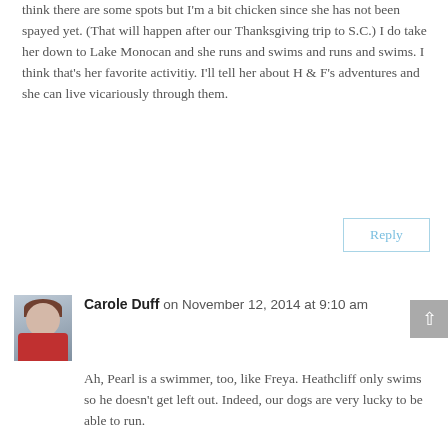think there are some spots but I'm a bit chicken since she has not been spayed yet. (That will happen after our Thanksgiving trip to S.C.) I do take her down to Lake Monocan and she runs and swims and runs and swims. I think that's her favorite activitiy. I'll tell her about H & F's adventures and she can live vicariously through them.
Reply
Carole Duff on November 12, 2014 at 9:10 am
Ah, Pearl is a swimmer, too, like Freya. Heathcliff only swims so he doesn't get left out. Indeed, our dogs are very lucky to be able to run.

Thanks for your comment!